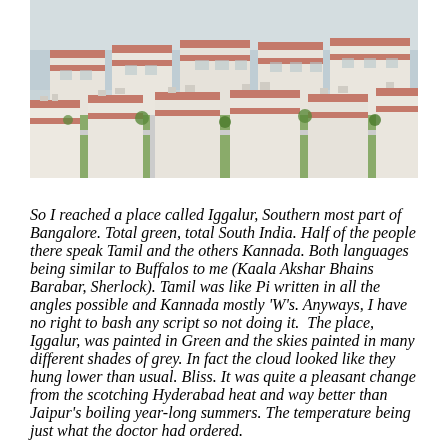[Figure (photo): Aerial view of white flat-roofed buildings with terracotta-coloured decorative bands, surrounded by greenery, under an overcast sky.]
So I reached a place called Iggalur, Southern most part of Bangalore. Total green, total South India. Half of the people there speak Tamil and the others Kannada. Both languages being similar to Buffalos to me (Kaala Akshar Bhains Barabar, Sherlock). Tamil was like Pi written in all the angles possible and Kannada mostly 'W's. Anyways, I have no right to bash any script so not doing it.  The place, Iggalur, was painted in Green and the skies painted in many different shades of grey. In fact the cloud looked like they hung lower than usual. Bliss. It was quite a pleasant change from the scotching Hyderabad heat and way better than Jaipur's boiling year-long summers. The temperature being just what the doctor had ordered.